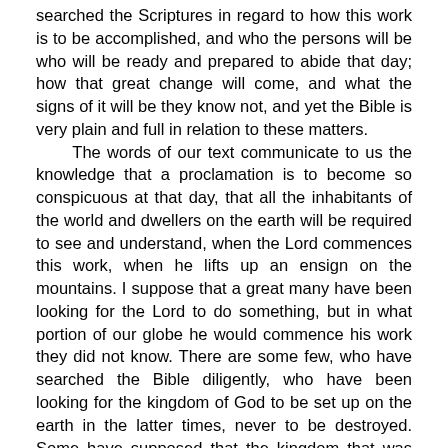searched the Scriptures in regard to how this work is to be accomplished, and who the persons will be who will be ready and prepared to abide that day; how that great change will come, and what the signs of it will be they know not, and yet the Bible is very plain and full in relation to these matters.

The words of our text communicate to us the knowledge that a proclamation is to become so conspicuous at that day, that all the inhabitants of the world and dwellers on the earth will be required to see and understand, when the Lord commences this work, when he lifts up an ensign on the mountains. I suppose that a great many have been looking for the Lord to do something, but in what portion of our globe he would commence his work they did not know. There are some few, who have searched the Bible diligently, who have been looking for the kingdom of God to be set up on the earth in the latter times, never to be destroyed. Some have supposed that the kingdom that was built up by the early Christians, some eighteen hundred years ago, was that kingdom predicted by the Prophet Daniel. Others, not being able to reconcile the ideas communicated by Daniel on this subject, have looked forward to a day when there should be, literally, a kingdom established